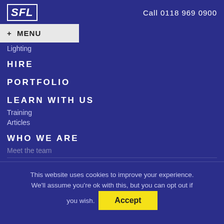SFL   Call 0118 969 0900
+ MENU
Lighting
HIRE
PORTFOLIO
LEARN WITH US
Training
Articles
WHO WE ARE
Meet the team
This website uses cookies to improve your experience. We'll assume you're ok with this, but you can opt out if you wish. Accept